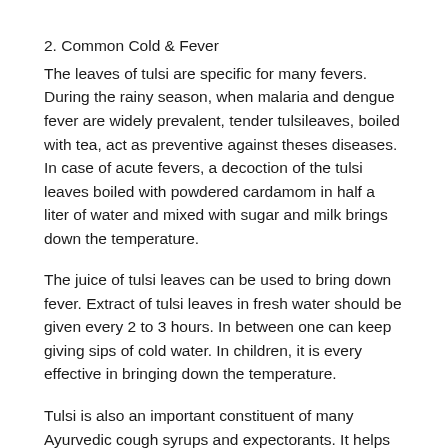2. Common Cold & Fever
The leaves of tulsi are specific for many fevers. During the rainy season, when malaria and dengue fever are widely prevalent, tender tulsileaves, boiled with tea, act as preventive against theses diseases. In case of acute fevers, a decoction of the tulsi leaves boiled with powdered cardamom in half a liter of water and mixed with sugar and milk brings down the temperature.
The juice of tulsi leaves can be used to bring down fever. Extract of tulsi leaves in fresh water should be given every 2 to 3 hours. In between one can keep giving sips of cold water. In children, it is every effective in bringing down the temperature.
Tulsi is also an important constituent of many Ayurvedic cough syrups and expectorants. It helps to mobilize